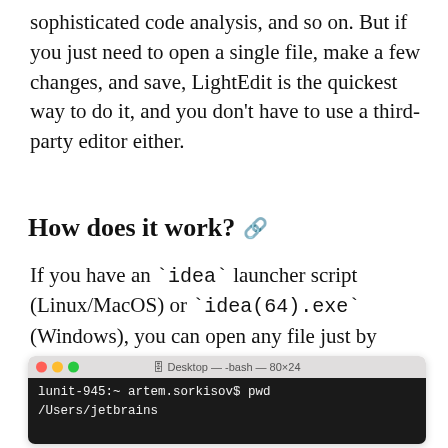sophisticated code analysis, and so on. But if you just need to open a single file, make a few changes, and save, LightEdit is the quickest way to do it, and you don't have to use a third-party editor either.
How does it work? 🔗
If you have an `idea` launcher script (Linux/MacOS) or `idea(64).exe` (Windows), you can open any file just by passing it as a parameter to the launcher:
[Figure (screenshot): Terminal window showing a bash shell at Desktop with title 'Desktop — -bash — 80×24'. Two lines visible: 'lunit-945:~ artem.sorkisov$ pwd' and '/Users/jetbrains']